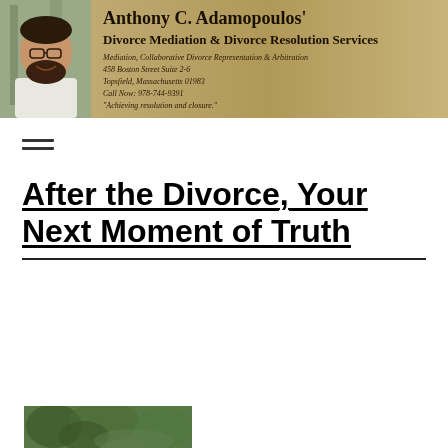[Figure (logo): Header banner for Anthony C. Adamopoulos' Divorce Mediation & Divorce Resolution Services. Shows a photo of a man with glasses and beard on the left, and on the right: firm name, services, address at 458 Boston Street Suite 2-6, Topsfield, Massachusetts 01983, phone Call Now: 978-744-9391, and tagline 'Achieving resolution and closure.']
[Figure (photo): Partial green foliage/nature photo at the bottom of the page, mostly cut off.]
After the Divorce, Your Next Moment of Truth